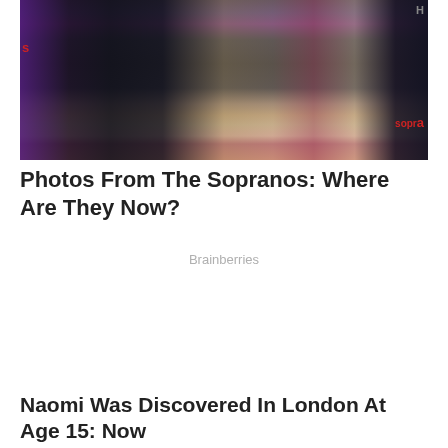[Figure (photo): Group photo of women from The Sopranos cast at a reunion/event, standing together against a backdrop with 'sopranos' text visible]
Photos From The Sopranos: Where Are They Now?
Brainberries
Naomi Was Discovered In London At Age 15: Now